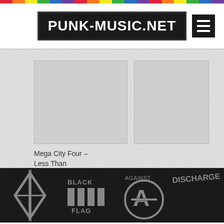[Figure (logo): Rainbow color bar stripe at the very top of the page]
PUNK-MUSIC.NET
[Figure (illustration): Album artwork placeholder images for Mega City Four - Less Than]
Mega City Four – Less Than
[Figure (illustration): Footer band logos: Dead Kennedys, Black Flag, Against All Authority (circle-A anarchy symbol), Discharge, and another band logo on black background]